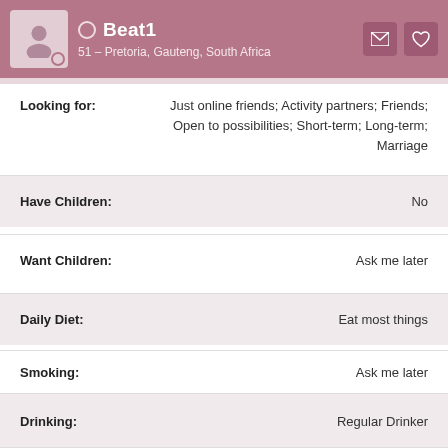Beat1 – 51 – Pretoria, Gauteng, South Africa
Looking for: Just online friends; Activity partners; Friends; Open to possibilities; Short-term; Long-term; Marriage
Have Children: No
Want Children: Ask me later
Daily Diet: Eat most things
Smoking: Ask me later
Drinking: Regular Drinker
Education: Bachelors degree